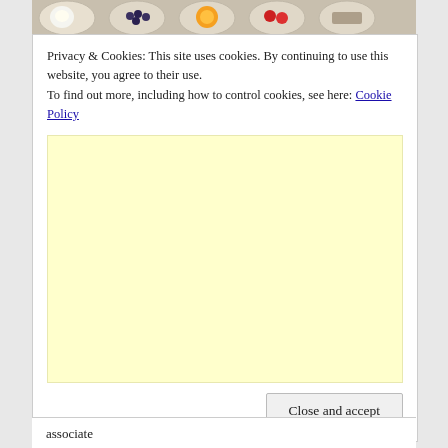[Figure (photo): Top strip showing bowls of various foods including eggs, blueberries, orange slices, strawberries, and seeds on a wooden surface]
Privacy & Cookies: This site uses cookies. By continuing to use this website, you agree to their use.
To find out more, including how to control cookies, see here: Cookie Policy
[Figure (other): Yellow/cream colored advertisement placeholder box]
Close and accept
associate